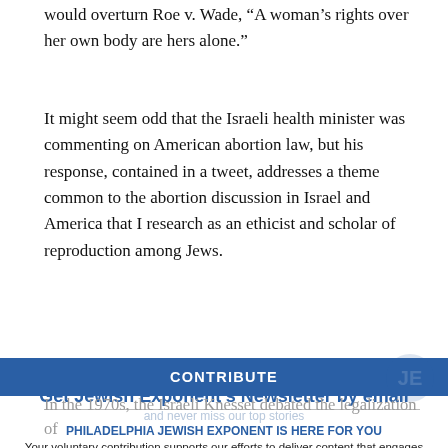would overturn Roe v. Wade, “A woman’s rights over her own body are hers alone.”
It might seem odd that the Israeli health minister was commenting on American abortion law, but his response, contained in a tweet, addresses a theme common to the abortion discussion in Israel and America that I research as an ethicist and scholar of reproduction among Jews.
Get Jewish Exponent’s Newsletter by email
and never miss our top stories
PHILADELPHIA JEWISH EXPONENT IS HERE FOR YOU
Your voluntary contribution supports our efforts to deliver content that engages and helps strengthen the Jewish community in the Philadelphia area.
FREE SIGN UP
CONTRIBUTE
In the 1970s, the Israeli Knesset debated the legalization of